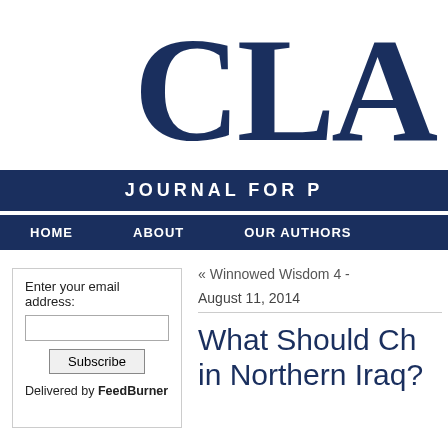[Figure (logo): Partial logo showing large letters 'CLA' in dark navy serif font, cropped on right]
JOURNAL FOR P
HOME   ABOUT   OUR AUTHORS
Enter your email address:
Subscribe
Delivered by FeedBurner
« Winnowed Wisdom 4 -
August 11, 2014
What Should Ch in Northern Iraq?